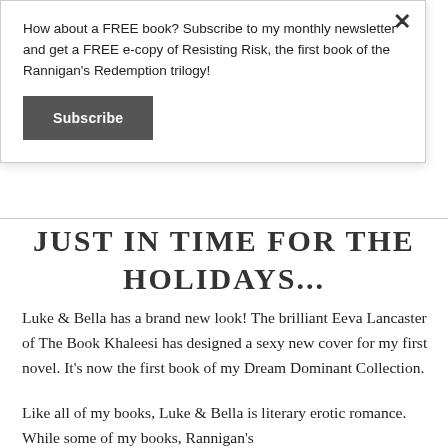How about a FREE book? Subscribe to my monthly newsletter and get a FREE e-copy of Resisting Risk, the first book of the Rannigan's Redemption trilogy!
Subscribe
JUST IN TIME FOR THE HOLIDAYS...
Luke & Bella has a brand new look!  The brilliant Eeva Lancaster of The Book Khaleesi has designed a sexy new cover for my first novel.  It's now the first book of my Dream Dominant Collection.
Like all of my books, Luke & Bella is literary erotic romance.  While some of my books, Rannigan's Redemption, for example, feature very strong, illustrious...